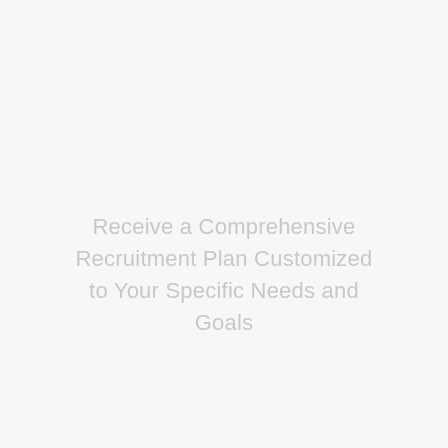Receive a Comprehensive Recruitment Plan Customized to Your Specific Needs and Goals